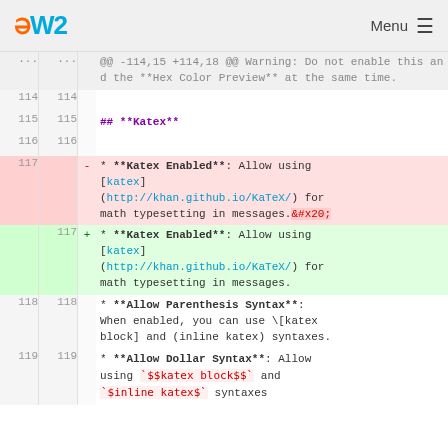OW2  Menu
| old_ln | new_ln | sign | code |
| --- | --- | --- | --- |
| ... | ... |  | @@ -114,15 +114,18 @@ Warning: Do not enable this and the **Hex Color Preview** at the same time. |
| 114 | 114 |  |  |
| 115 | 115 |  | ## **Katex** |
| 116 | 116 |  |  |
| 117 |  | - | * **Katex Enabled**: Allow using [katex](http://khan.github.io/KaTeX/) for math typesetting in messages.&#x20; |
|  | 117 | + | * **Katex Enabled**: Allow using [katex](http://khan.github.io/KaTeX/) for math typesetting in messages. |
| 118 | 118 |  | * **Allow Parenthesis Syntax**: When enabled, you can use \[katex block] and (inline katex) syntaxes. |
| 119 | 119 |  | * **Allow Dollar Syntax**: Allow using `$$katex block$$` and `$inline katex$` syntaxes |